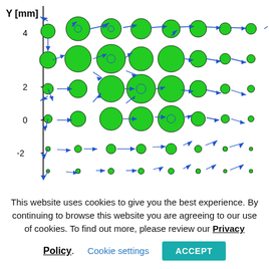[Figure (engineering-diagram): Scientific vector field / flow visualization diagram showing a grid of green circles of varying sizes (indicating magnitude) with blue arrows showing direction of flow. Y-axis labeled 'Y [mm]' with tick marks at -2, 0, 2, 4. The diagram shows a swirling/vortex pattern in the upper-left region with arrows radiating outward in other regions.]
This website uses cookies to give you the best experience. By continuing to browse this website you are agreeing to our use of cookies. To find out more, please review our Privacy Policy. Cookie settings ACCEPT